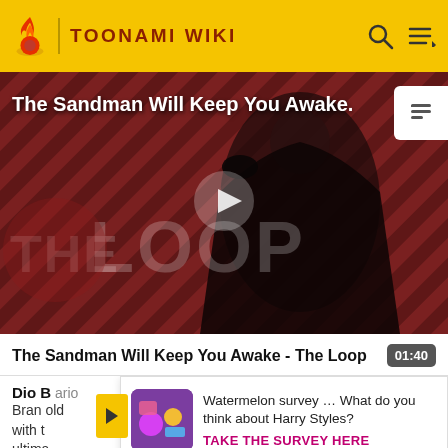TOONAMI WIKI
[Figure (screenshot): Video thumbnail showing The Sandman character in black costume against a dark red diagonal striped background with THE LOOP watermark. A play button is centered. Title overlay reads 'The Sandman Will Keep You Awake.']
The Sandman Will Keep You Awake - The Loop
Dio B... ario Bran... old with t... ultime... he
[Figure (screenshot): Survey popup with colorful icon and text: Watermelon survey … What do you think about Harry Styles? TAKE THE SURVEY HERE]